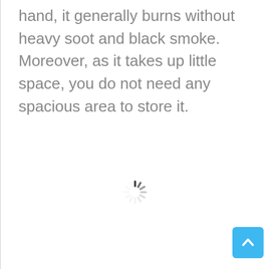hand, it generally burns without heavy soot and black smoke. Moreover, as it takes up little space, you do not need any spacious area to store it.
[Figure (other): Loading spinner (animated circular indicator) in the center of the page]
[Figure (other): Back-to-top button: blue rounded rectangle with a white upward-pointing chevron, positioned bottom-right]